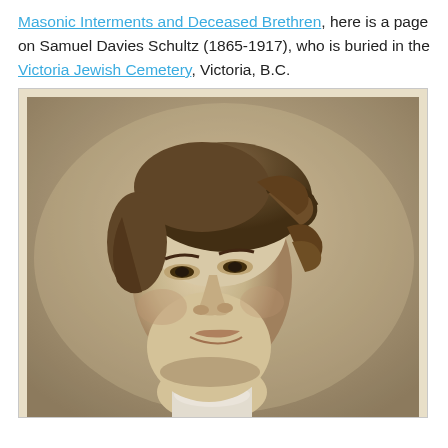Masonic Interments and Deceased Brethren, here is a page on Samuel Davies Schultz (1865-1917), who is buried in the Victoria Jewish Cemetery, Victoria, B.C.
[Figure (photo): Black and white portrait photograph of Samuel Davies Schultz, a young man with curly dark hair, facing slightly to the left, wearing a white collar.]